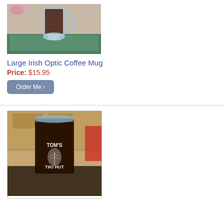[Figure (photo): Photo of a large Irish optic coffee mug on a green marble surface with a dark beverage, pink flowers in background]
Large Irish Optic Coffee Mug
Price: $15.95
Order Me ›
[Figure (photo): Photo of a tall glass beer mug with etched text reading 'TOM'S TIKI HUT' with a leaf design, filled with dark beverage, on a granite counter]